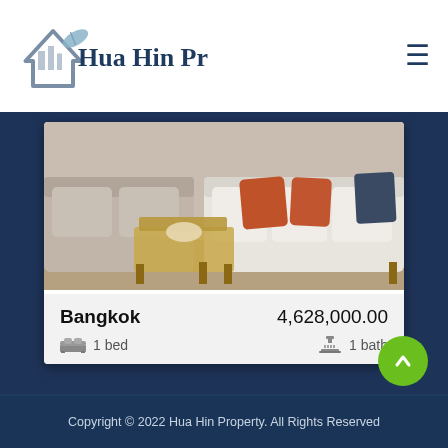[Figure (logo): Hua Hin Property logo with house/roof and leaf graphic]
Hua Hin Property
[Figure (photo): Interior photo of a living room with beige and white sofas, orange cushions, and a glass coffee table]
Bangkok  4,628,000.00
1 bed  1 bath
Copyright © 2022 Hua Hin Property. All Rights Reserved